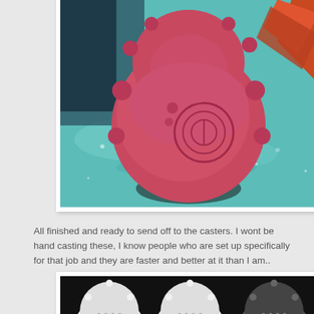[Figure (photo): A pink/red rounded toy figure sitting on a teal/turquoise textured surface, with blurred background showing books and an orange plant. The toy has circular embossed details and small protrusions.]
All finished and ready to send off to the casters. I wont be hand casting these, I know people who are set up specifically for that job and they are faster and better at it than I am..
[Figure (photo): Multiple white cast toy figures arranged in rows on a dark background, showing the same rounded character design with dot/spike details.]